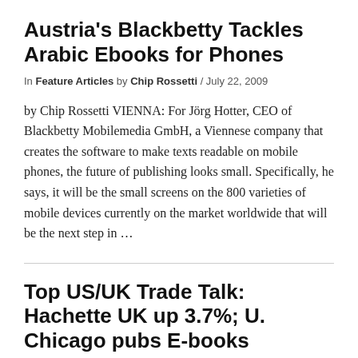Austria's Blackbetty Tackles Arabic Ebooks for Phones
In Feature Articles by Chip Rossetti / July 22, 2009
by Chip Rossetti VIENNA: For Jörg Hotter, CEO of Blackbetty Mobilemedia GmbH, a Viennese company that creates the software to make texts readable on mobile phones, the future of publishing looks small. Specifically, he says, it will be the small screens on the 800 varieties of mobile devices currently on the market worldwide that will be the next step in …
Top US/UK Trade Talk: Hachette UK up 3.7%; U. Chicago pubs E-books